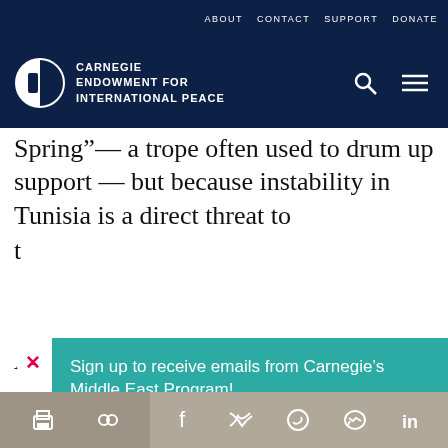ABOUT  CONTACT  SUPPORT  DONATE
[Figure (logo): Carnegie Endowment for International Peace logo with circular icon and white text on dark navy background, with search and menu icons]
Spring”— a trope often used to drum up support — but because instability in Tunisia is a direct threat to t
[Figure (infographic): Teal/green popup overlay with close button (X in white circle), sign-up form text 'Sign up to receive emails from Carnegie’s Middle East Program!', email input field, and dark navy SUBMIT button with arrow]
significant near-term threat to U.S. and allies’ interests” in Africa and “ISIS-Libya remains a
Print, Share, Facebook, Twitter, WhatsApp, Messenger, LinkedIn social share icons